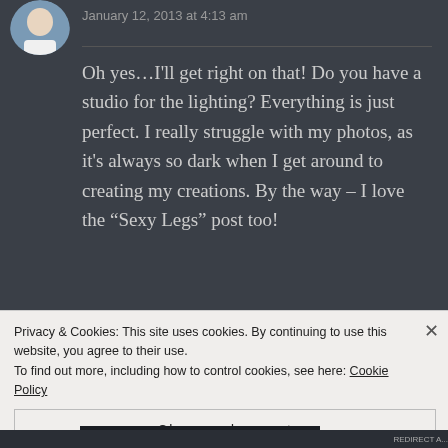[Figure (photo): Circular avatar photo of a person in white clothing, partially cropped at top of page]
January 12, 2013 at 4:13 am
Oh yes…I'll get right on that! Do you have a studio for the lighting? Everything is just perfect. I really struggle with my photos, as it's always so dark when I get around to creating my creations. By the way – I love the “Sexy Legs” post too!
[Figure (photo): Partial view of a second commenter avatar at bottom-left]
Privacy & Cookies: This site uses cookies. By continuing to use this website, you agree to their use.
To find out more, including how to control cookies, see here: Cookie Policy
Close and accept